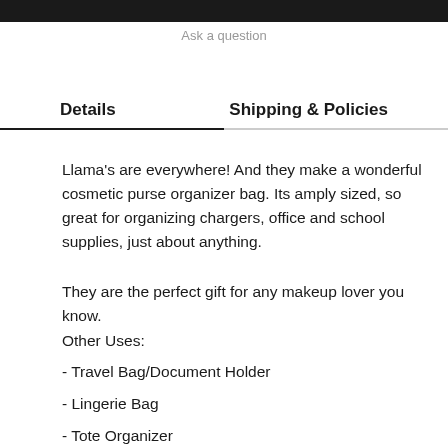Ask a question
Details    Shipping & Policies
Llama's are everywhere! And they make a wonderful cosmetic purse organizer bag. Its amply sized, so great for organizing chargers, office and school supplies, just about anything.
They are the perfect gift for any makeup lover you know.
Other Uses:
- Travel Bag/Document Holder
- Lingerie Bag
- Tote Organizer